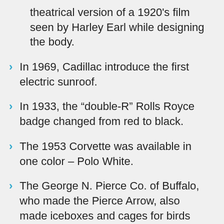theatrical version of a 1920's film seen by Harley Earl while designing the body.
In 1969, Cadillac introduce the first electric sunroof.
In 1933, the “double-R” Rolls Royce badge changed from red to black.
The 1953 Corvette was available in one color – Polo White.
The George N. Pierce Co. of Buffalo, who made the Pierce Arrow, also made iceboxes and cages for birds and squirrels.
The Dodge Brothers first logo incorporated